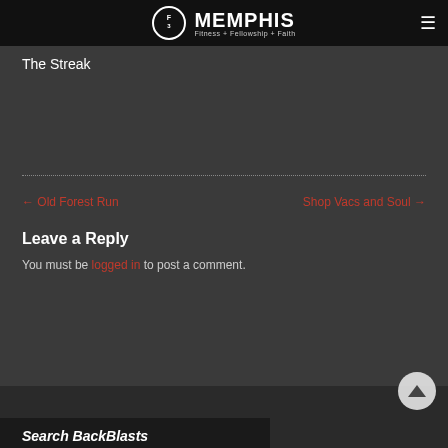F3 MEMPHIS — Fitness + Fellowship + Faith
The Streak
← Old Forest Run   Shop Vacs and Soul →
Leave a Reply
You must be logged in to post a comment.
Search BackBlasts